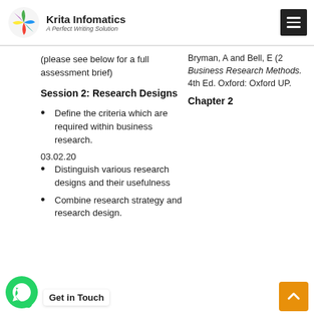Krita Infomatics — A Perfect Writing Solution
(please see below for a full assessment brief)
Session 2: Research Designs
Define the criteria which are required within business research.
03.02.20
Distinguish various research designs and their usefulness
Combine research strategy and research design.
Bryman, A and Bell, E (2 Business Research Methods. 4th Ed. Oxford: Oxford UP.
Chapter 2